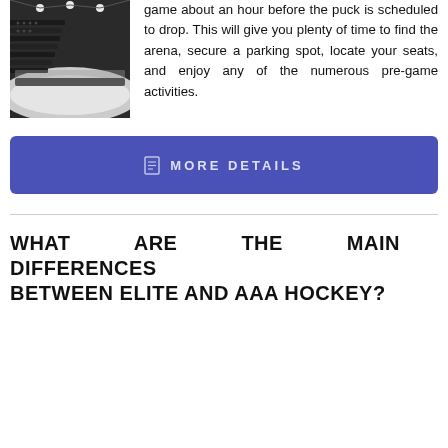[Figure (photo): Black and white photo of an ice hockey arena interior showing empty stands and the ice rink]
In general, it is best to get to a hockey game about an hour before the puck is scheduled to drop. This will give you plenty of time to find the arena, secure a parking spot, locate your seats, and enjoy any of the numerous pre-game activities.
MORE DETAILS
WHAT ARE THE MAIN DIFFERENCES BETWEEN ELITE AND AAA HOCKEY?